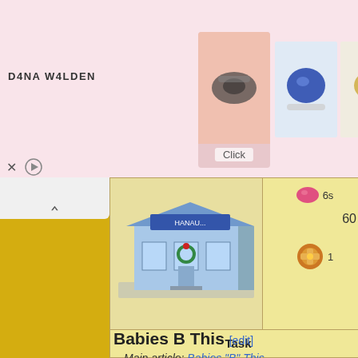[Figure (screenshot): Advertisement banner with ring jewelry images and Dana Walden branding on pink background]
[Figure (screenshot): Game UI showing an isometric store building with reward icons (gem giving 6s, 60 currency, gift box giving 1) and a task table showing 'Task' header and 'Slowing Down Any Size Sea Vesse...' text]
Babies B This [edit]
Main article: Babies "B" This